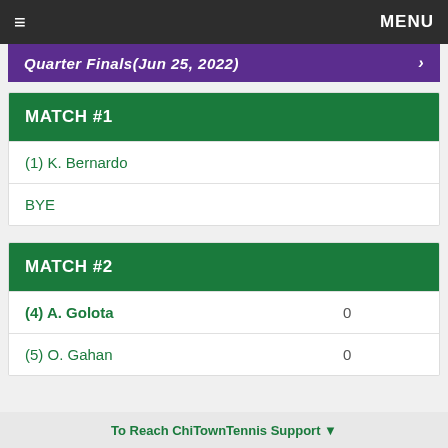≡  MENU
Quarter Finals(Jun 25, 2022)
MATCH #1
(1) K. Bernardo
BYE
MATCH #2
(4) A. Golota  0
(5) O. Gahan  0
To Reach ChiTownTennis Support ▼